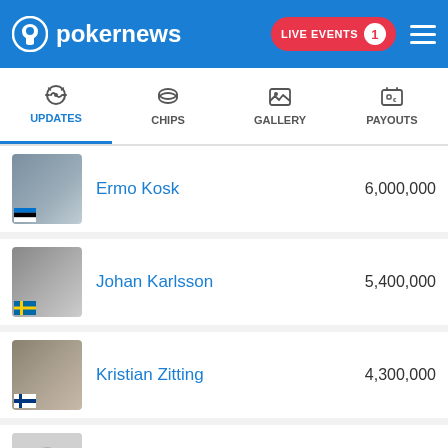[Figure (screenshot): PokerNews website header with blue background, PokerNews logo on left, LIVE EVENTS 1 button in red, and hamburger menu icon on right]
[Figure (screenshot): Navigation tabs: UPDATES (active, blue underline), CHIPS, GALLERY, PAYOUTS]
Ermo Kosk 6,000,000
Johan Karlsson 5,400,000
Kristian Zitting 4,300,000
Dennis Berglin 3,100,000
Renato Messina 1,400,000